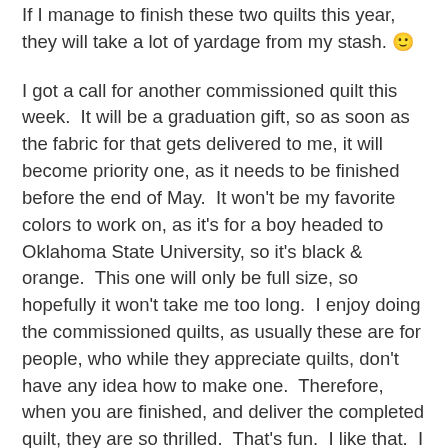If I manage to finish these two quilts this year, they will take a lot of yardage from my stash. 🙂
I got a call for another commissioned quilt this week.  It will be a graduation gift, so as soon as the fabric for that gets delivered to me, it will become priority one, as it needs to be finished before the end of May.  It won't be my favorite colors to work on, as it's for a boy headed to Oklahoma State University, so it's black & orange.  This one will only be full size, so hopefully it won't take me too long.  I enjoy doing the commissioned quilts, as usually these are for people, who while they appreciate quilts, don't have any idea how to make one.  Therefore, when you are finished, and deliver the completed quilt, they are so thrilled.  That's fun.  I like that.  I will do the standard simple log cabin, so I can get it done in time.  For those wondering, as I usually get some emails asking, for a simple pattern such as log cabin, or rail fence, I charge 7